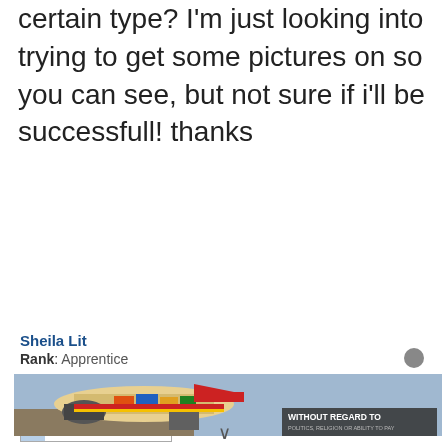certain type? I'm just looking into trying to get some pictures on so you can see, but not sure if i'll be successfull! thanks
Sheila Lit
Rank: Apprentice
Progress to next rank: 15.8%
Posts: 8
Joined: Wed Feb 16, 2011 2:28 pm
[Figure (photo): Advertisement banner showing cargo being loaded onto an airplane with text 'WITHOUT REGARD TO POLITICS, RELIGION OR ABILITY TO PAY']
∨